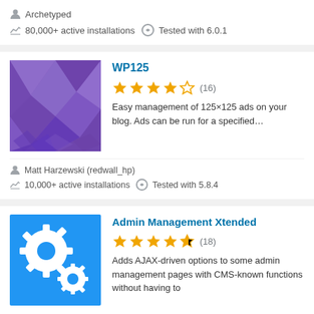Archetyped
80,000+ active installations   Tested with 6.0.1
WP125
[Figure (illustration): Purple geometric low-poly triangle pattern plugin icon]
4.5 stars (16)
Easy management of 125×125 ads on your blog. Ads can be run for a specified…
Matt Harzewski (redwall_hp)
10,000+ active installations   Tested with 5.8.4
Admin Management Xtended
[Figure (illustration): Blue square icon with white gear/cog symbols]
4.5 stars (18)
Adds AJAX-driven options to some admin management pages with CMS-known functions without having to